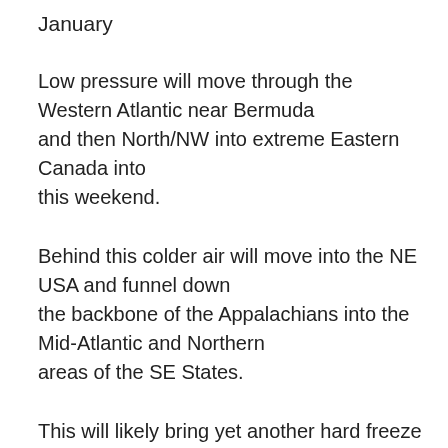January
Low pressure will move through the Western Atlantic near Bermuda
and then North/NW into extreme Eastern Canada into this weekend.
Behind this colder air will move into the NE USA and funnel down
the backbone of the Appalachians into the Mid-Atlantic and Northern
areas of the SE States.
This will likely bring yet another hard freeze into mainly Interior
Mid-Atlantic this weekend, particularly Sunday